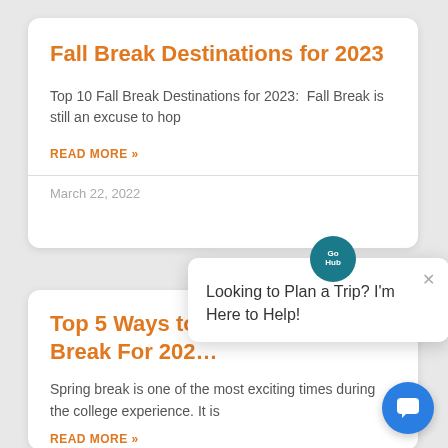Fall Break Destinations for 2023
Top 10 Fall Break Destinations for 2023:  Fall Break is still an excuse to hop
READ MORE »
March 22, 2022
Top 5 Ways to Break For 202…
Spring break is one of the most exciting times during the college experience. It is
READ MORE »
Looking to Plan a Trip? I'm Here to Help!